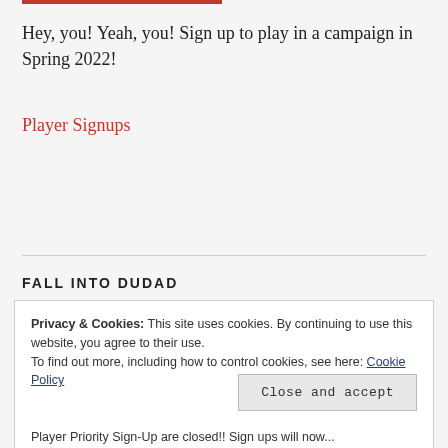Hey, you! Yeah, you! Sign up to play in a campaign in Spring 2022!
Player Signups
FALL INTO DUDAD
Privacy & Cookies: This site uses cookies. By continuing to use this website, you agree to their use.
To find out more, including how to control cookies, see here: Cookie Policy
Close and accept
Player Priority Sign-Up are closed!! Sign ups will now...